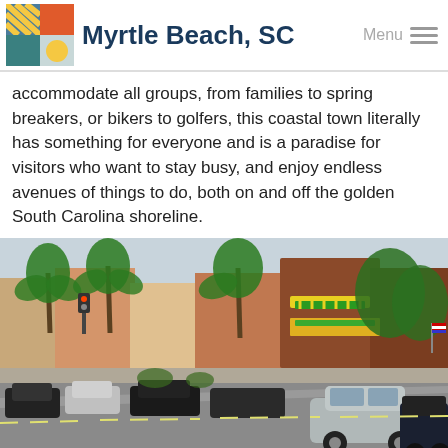Myrtle Beach, SC
accommodate all groups, from families to spring breakers, or bikers to golfers, this coastal town literally has something for everyone and is a paradise for visitors who want to stay busy, and enjoy endless avenues of things to do, both on and off the golden South Carolina shoreline.
[Figure (photo): Street view of a commercial district in Myrtle Beach, SC, showing palm trees lining the road, colorful storefronts with awnings, cars parked and driving on the street, and a silver Ford Mustang in the foreground.]